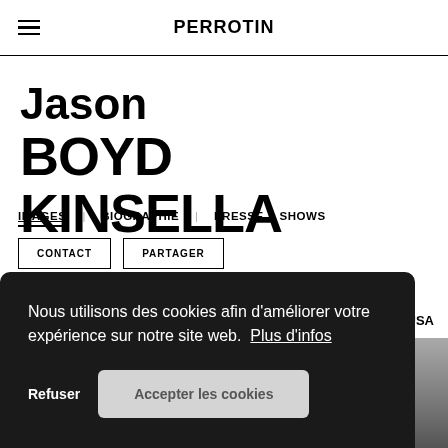PERROTIN
Jason BOYD KINSELLA
IMAGES  BIOGRAPHIE  PRESSE  SHOWS
CONTACT
PARTAGER
Nous utilisons des cookies afin d’améliorer votre expérience sur notre site web.  Plus d’infos
Refuser
Accepter les cookies
es, USA
[Figure (photo): Black and white portrait photo of Jason Boyd Kinsella, partially visible at bottom of page]